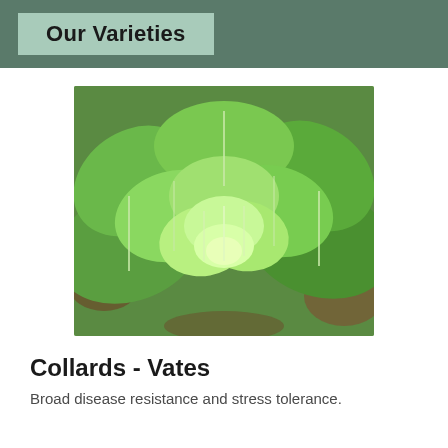Our Varieties
[Figure (photo): Close-up photograph of a collard greens plant (Vates variety) showing large, broad, green leaves with prominent white veins, growing in soil.]
Collards - Vates
Broad disease resistance and stress tolerance.